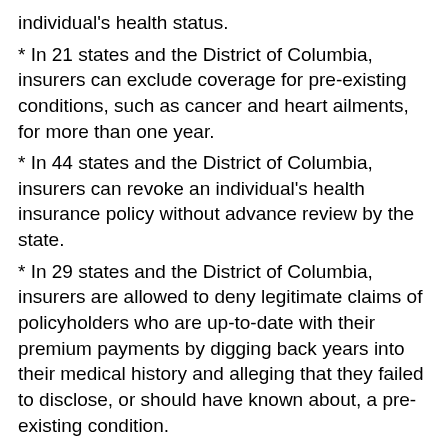individual's health status.
* In 21 states and the District of Columbia, insurers can exclude coverage for pre-existing conditions, such as cancer and heart ailments, for more than one year.
* In 44 states and the District of Columbia, insurers can revoke an individual's health insurance policy without advance review by the state.
* In 29 states and the District of Columbia, insurers are allowed to deny legitimate claims of policyholders who are up-to-date with their premium payments by digging back years into their medical history and alleging that they failed to disclose, or should have known about, a pre-existing condition.
* In 45 states and the District of Columbia, insurers do not have to spend at least 75 percent of premium revenues on health care, which allows insurers to retain those revenues for profits and non-health care expenses (such as marketing).
“The individual health insurance market is still the wild, wild west for America’s health care consumers,” said Ron Pollack, Executive Director of Families USA.